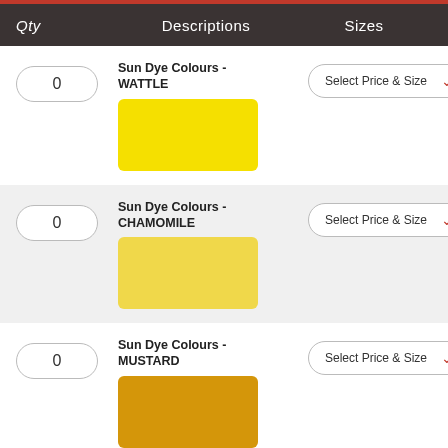| Qty | Descriptions | Sizes |
| --- | --- | --- |
| 0 | Sun Dye Colours - WATTLE | Select Price & Size |
| 0 | Sun Dye Colours - CHAMOMILE | Select Price & Size |
| 0 | Sun Dye Colours - MUSTARD | Select Price & Size |
| 0 | Sun Dye Colours - CITRUS | Select Price & Size |